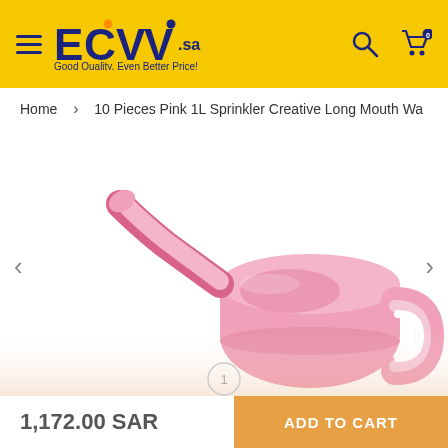ECVV .sa — Good Quality, Even Better Price!
Home > 10 Pieces Pink 1L Sprinkler Creative Long Mouth Wa
[Figure (photo): Pink plastic watering can with a long curved spout and a handle, photographed on white background]
1
1,172.00 SAR
ADD TO CART